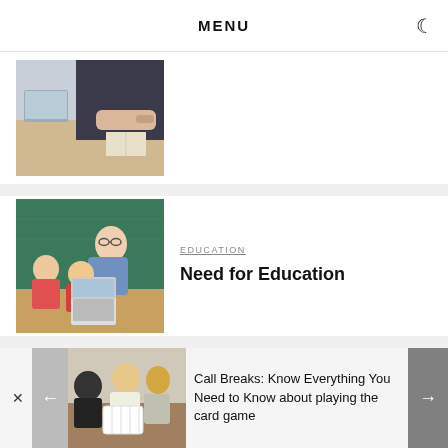MENU
[Figure (photo): Person studying at a desk with a laptop and open book]
[Figure (photo): Teacher with glasses helping children looking at a laptop, classroom with green chalkboard]
EDUCATION
Need for Education
[Figure (photo): Group of young adults playing a card game around a table]
Call Breaks: Know Everything You Need to Know about playing the card game